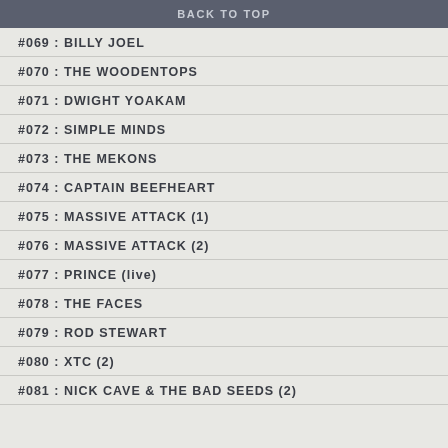BACK TO TOP
#069 : BILLY JOEL
#070 : THE WOODENTOPS
#071 : DWIGHT YOAKAM
#072 : SIMPLE MINDS
#073 : THE MEKONS
#074 : CAPTAIN BEEFHEART
#075 : MASSIVE ATTACK (1)
#076 : MASSIVE ATTACK (2)
#077 : PRINCE (live)
#078 : THE FACES
#079 : ROD STEWART
#080 : XTC (2)
#081 : NICK CAVE & THE BAD SEEDS (2)